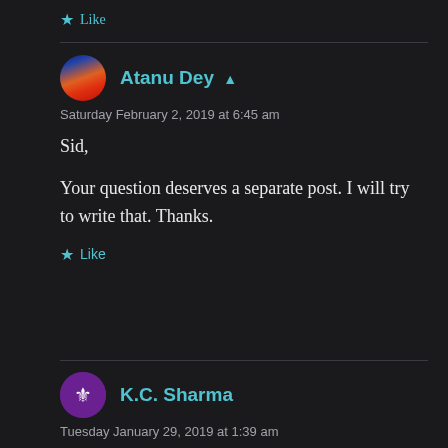★ Like
Atanu Dey ▲
Saturday February 2, 2019 at 6:45 am
Sid,
Your question deserves a separate post. I will try to write that. Thanks.
★ Like
K.C. Sharma
Tuesday January 29, 2019 at 1:39 am